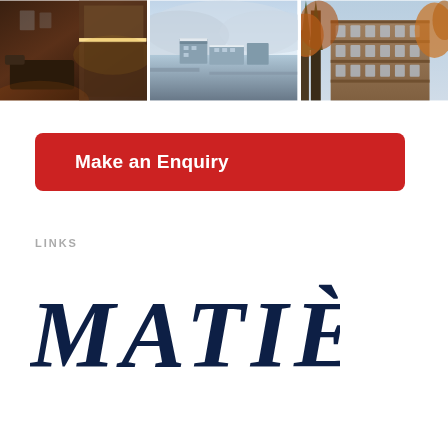[Figure (photo): Three property photos in a row: interior room with dark wood and ambient lighting, aerial winter snow scene with chalet buildings, and autumn exterior view of apartment building through pine trees]
Make an Enquiry
LINKS
[Figure (logo): MATIÈE brand logo in large dark navy serif italic font]